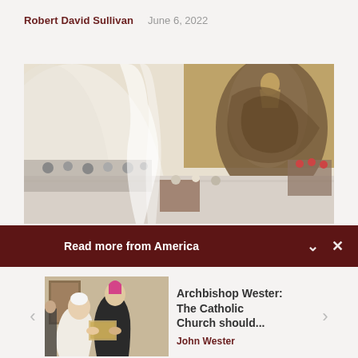Robert David Sullivan   June 6, 2022
[Figure (photo): Interior of a large Vatican hall showing a crowd of attendees seated on the left, a central aisle, white curtain architecture, and a large bronze sculptural wall relief of Christ in the background]
Read more from America
[Figure (photo): Pope Francis meeting a bishop in black vestments with a pink mitre, examining a document or artwork together in an ornate room with a painting in the background]
Archbishop Wester: The Catholic Church should...
John Wester